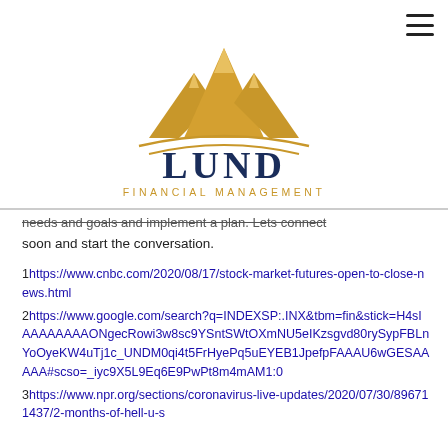[Figure (logo): Lund Financial Management logo with mountain peaks in gold and 'LUND FINANCIAL MANAGEMENT' text in dark navy blue]
needs and goals and implement a plan. Lets connect soon and start the conversation.
1https://www.cnbc.com/2020/08/17/stock-market-futures-open-to-close-news.html
2https://www.google.com/search?q=INDEXSP:.INX&tbm=fin&stick=H4sIAAAAAAAAONgecRowi3w8sc9YSntSWtOXmNU5eIKzsgvd80rySypFBLnYoOyeKW4uTj1c_UNDM0qi4t5FrHyePq5uEYEB1JpefpFAAAU6wGESAAAAA#scso=_iyc9X5L9Eq6E9PwPt8m4mAM1:0
3https://www.npr.org/sections/coronavirus-live-updates/2020/07/30/896711437/2-months-of-hell-u-s